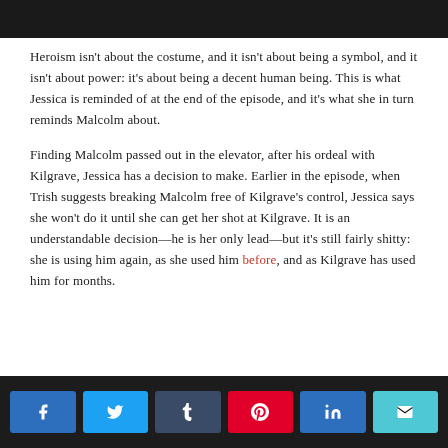[Figure (photo): Dark photo bar at top of page, partially visible image of a person]
Heroism isn't about the costume, and it isn't about being a symbol, and it isn't about power: it's about being a decent human being. This is what Jessica is reminded of at the end of the episode, and it's what she in turn reminds Malcolm about.
Finding Malcolm passed out in the elevator, after his ordeal with Kilgrave, Jessica has a decision to make. Earlier in the episode, when Trish suggests breaking Malcolm free of Kilgrave's control, Jessica says she won't do it until she can get her shot at Kilgrave. It is an understandable decision—he is her only lead—but it's still fairly shitty: she is using him again, as she used him before, and as Kilgrave has used him for months.
[Figure (infographic): Social share buttons bar: Facebook (blue), Twitter (light blue), Tumblr (dark blue-grey), Pinterest (red), LinkedIn (blue), Email (teal)]